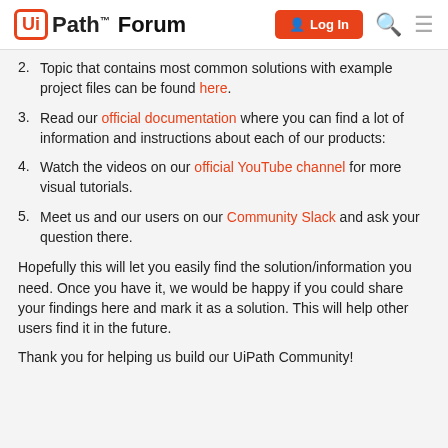UiPath Forum — Log In
2. Topic that contains most common solutions with example project files can be found here.
3. Read our official documentation where you can find a lot of information and instructions about each of our products:
4. Watch the videos on our official YouTube channel for more visual tutorials.
5. Meet us and our users on our Community Slack and ask your question there.
Hopefully this will let you easily find the solution/information you need. Once you have it, we would be happy if you could share your findings here and mark it as a solution. This will help other users find it in the future.
Thank you for helping us build our UiPath Community!